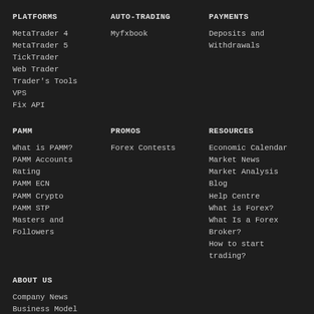PLATFORMS
MetaTrader 4
MetaTrader 5
TickTrader
Web Trader
Trader's Tools
VPS
Fix API
AUTO-TRADING
Myfxbook
PAYMENTS
Deposits and Withdrawals
PAMM
What is PAMM?
PAMM Accounts
Rating
PAMM ECN
PAMM Crypto
PAMM STP
Masters and Followers
PROMOS
Forex Contests
RESOURCES
Economic Calendar
Market News
Market Analysis
Blog
Help Centre
What is Forex?
What Is a Forex Broker?
How to start trading?
ABOUT US
Company News
Business Model